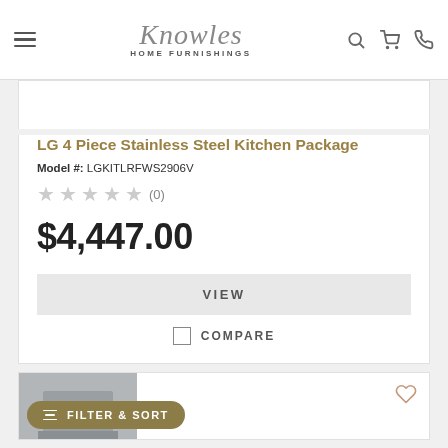Knowles Home Furnishings
LG 4 Piece Stainless Steel Kitchen Package
Model #: LGKITLRFWS2906V
★ ★ ★ ★ ★ (0)
$4,447.00
VIEW
COMPARE
[Figure (photo): Bottom of a second product listing card with a stainless steel appliance image partially visible]
FILTER & SORT